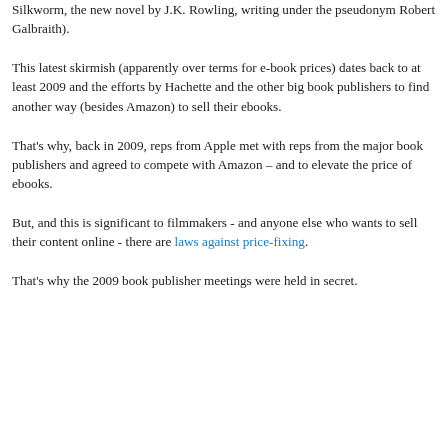Silkworm, the new novel by J.K. Rowling, writing under the pseudonym Robert Galbraith).
This latest skirmish (apparently over terms for e-book prices) dates back to at least 2009 and the efforts by Hachette and the other big book publishers to find another way (besides Amazon) to sell their ebooks.
That's why, back in 2009, reps from Apple met with reps from the major book publishers and agreed to compete with Amazon – and to elevate the price of ebooks.
But, and this is significant to filmmakers - and anyone else who wants to sell their content online - there are laws against price-fixing.
That's why the 2009 book publisher meetings were held in secret.